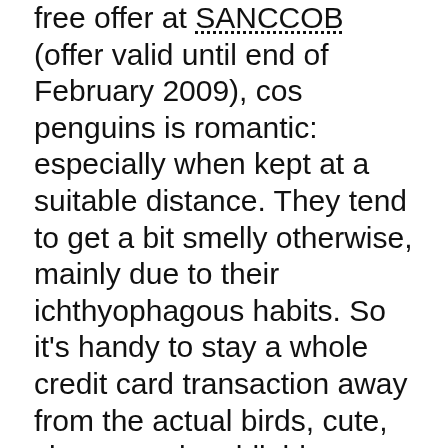free offer at SANCCOB (offer valid until end of February 2009), cos penguins is romantic: especially when kept at a suitable distance. They tend to get a bit smelly otherwise, mainly due to their ichthyophagous habits. So it's handy to stay a whole credit card transaction away from the actual birds, cute, clumsy and cuddlable though they may appear.
During the afternoon, we packed the kids, the pram, a picnic and the camera into the back of the car and popped just around the corner to Kirstenbosch. It may appear to